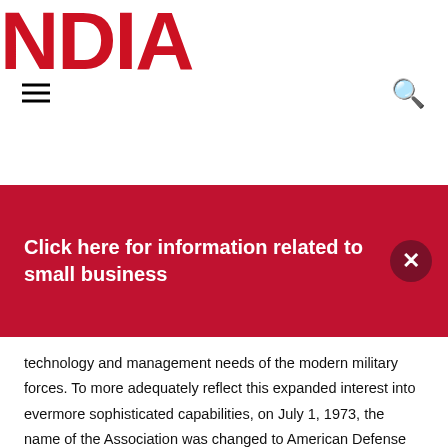NDIA
Click here for information related to small business
technology and management needs of the modern military forces. To more adequately reflect this expanded interest into evermore sophisticated capabilities, on July 1, 1973, the name of the Association was changed to American Defense Preparedness Association – the ADPA. The American Defense Preparedness Association became a national organization dedicated to fostering progress in science, engineering, education, and management focused on national defense and the defense industrial base. As before, ADPA remained a non-political and non-profit organization dedicated to preparedness and national security. Through continual advocacy, education, and information campaigns, it continued efforts to